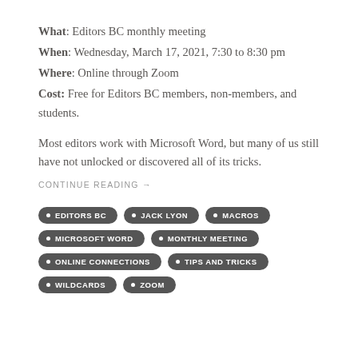What: Editors BC monthly meeting
When: Wednesday, March 17, 2021, 7:30 to 8:30 pm
Where: Online through Zoom
Cost: Free for Editors BC members, non-members, and students.
Most editors work with Microsoft Word, but many of us still have not unlocked or discovered all of its tricks.
CONTINUE READING →
EDITORS BC
JACK LYON
MACROS
MICROSOFT WORD
MONTHLY MEETING
ONLINE CONNECTIONS
TIPS AND TRICKS
WILDCARDS
ZOOM